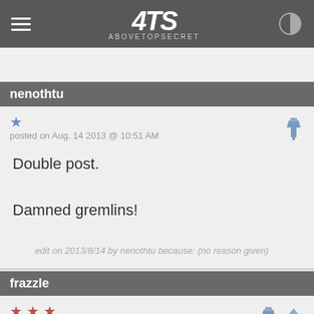4TS AboveTopSecret
nenothtu
posted on Aug. 14 2013 @ 10:51 AM
Double post.

Damned gremlins!
edit on 2013/8/14 by nenothtu because: (no reason given)
frazzle
posted on Aug. 14 2013 @ 11:06 AM